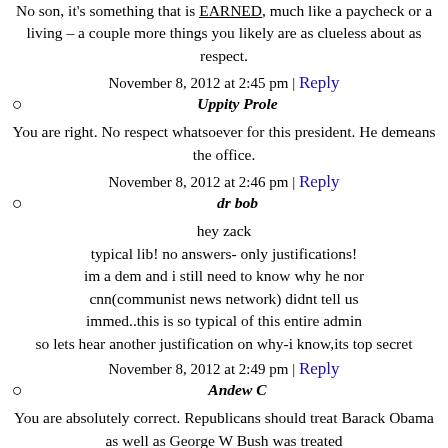No son, it's something that is EARNED, much like a paycheck or a living – a couple more things you likely are as clueless about as respect.
November 8, 2012 at 2:45 pm | Reply
Uppity Prole
You are right. No respect whatsoever for this president. He demeans the office.
November 8, 2012 at 2:46 pm | Reply
dr bob
hey zack typical lib! no answers- only justifications! im a dem and i still need to know why he nor cnn(communist news network) didnt tell us immed..this is so typical of this entire admin so lets hear another justification on why-i know,its top secret
November 8, 2012 at 2:49 pm | Reply
Andew C
You are absolutely correct. Republicans should treat Barack Obama as well as George W Bush was treated